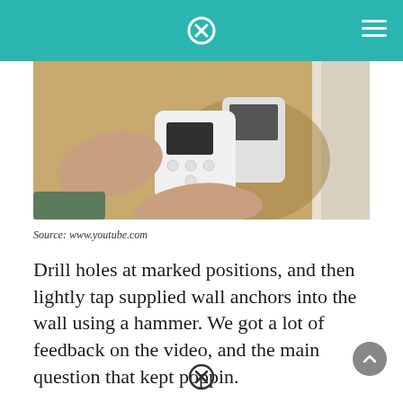[Figure (photo): Hands installing a thermostat onto a wall mount, with the white thermostat unit being attached to a wall plate on a yellow wall near a white door frame.]
Source: www.youtube.com
Drill holes at marked positions, and then lightly tap supplied wall anchors into the wall using a hammer. We got a lot of feedback on the video, and the main question that kept poppin.